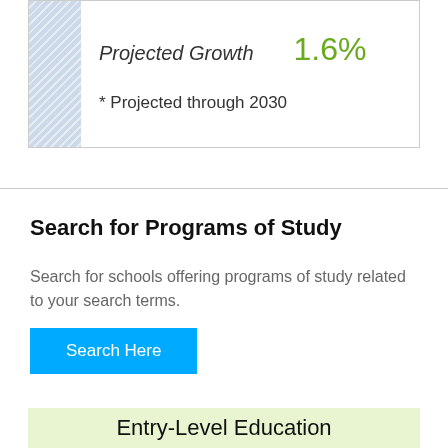[Figure (infographic): Projected Growth box with hatched blue block on the left, showing 1.6% projected growth and note '* Projected through 2030']
Projected Growth   1.6%
* Projected through 2030
Search for Programs of Study
Search for schools offering programs of study related to your search terms.
Search Here
Entry-Level Education